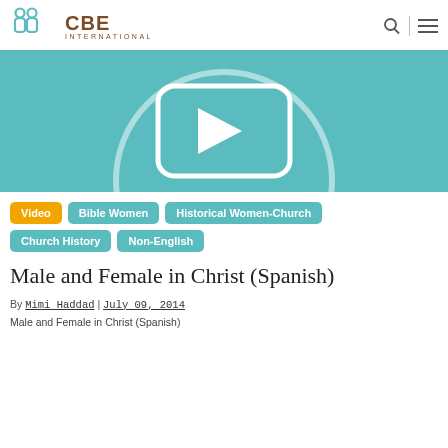CBE INTERNATIONAL
[Figure (illustration): Teal/turquoise video thumbnail with a white play button icon inside a rounded rectangle, centered on a circular background shape.]
Video
Bible Women
Historical Women-Church
Church History
Non-English
Male and Female in Christ (Spanish)
By Mimi Haddad | July 09, 2014
Male and Female in Christ (Spanish)